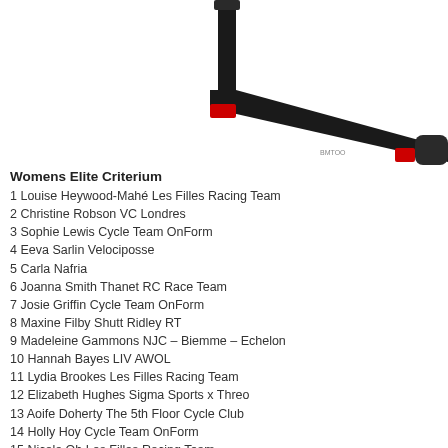[Figure (photo): Close-up of a black and red carbon fiber bicycle frame with seat post, top tube, and handlebars against a white background]
Womens Elite Criterium
1 Louise Heywood-Mahé Les Filles Racing Team
2 Christine Robson VC Londres
3 Sophie Lewis Cycle Team OnForm
4 Eeva Sarlin Velociposse
5 Carla Nafria
6 Joanna Smith Thanet RC Race Team
7 Josie Griffin Cycle Team OnForm
8 Maxine Filby Shutt Ridley RT
9 Madeleine Gammons NJC – Biemme – Echelon
10 Hannah Bayes LIV AWOL
11 Lydia Brookes Les Filles Racing Team
12 Elizabeth Hughes Sigma Sports x Threo
13 Aoife Doherty The 5th Floor Cycle Club
14 Holly Hoy Cycle Team OnForm
15 Nicole Oh Les Filles Racing Team
16 Emma Jane Hornsby Scarpa Racing